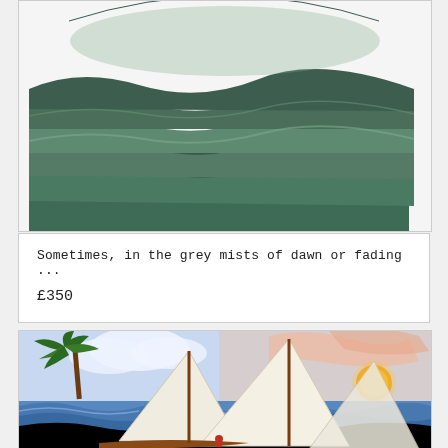[Figure (illustration): Top portion of a circular artwork showing layered green and teal wave-like patterns, abstract landscape with rounded forms]
Sometimes, in the grey mists of dawn or fading ...
£350
[Figure (illustration): Circular artwork depicting sailboats (dhow-like vessels with large triangular white sails) on blue ocean waves with a tropical scene: palm tree on left, orange sun setting on right, pink and peach clouds in sky, a small figure in a boat in foreground]